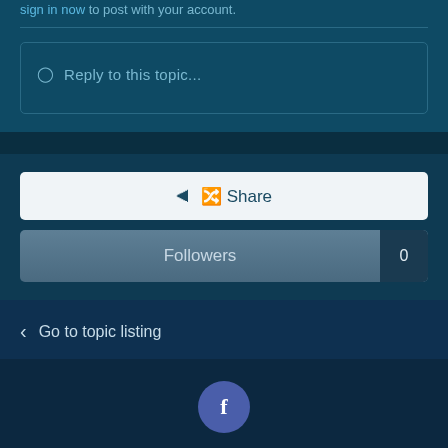sign in now to post with your account.
Reply to this topic...
Share
Followers   0
Go to topic listing
[Figure (logo): Facebook logo circle icon]
Theme ▾   Contact Us